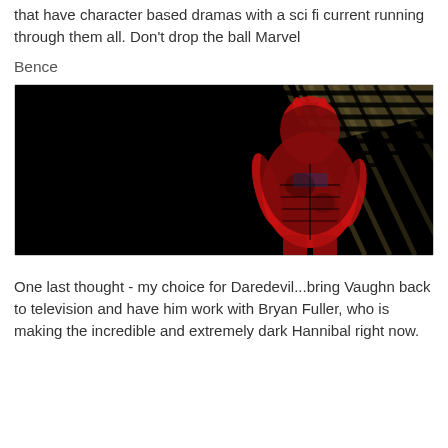that have character based dramas with a sci fi current running through them all. Don't drop the ball Marvel
Bence
[Figure (photo): Dark image of Daredevil comic/art figure in red suit against black background with grid/blinds shadow pattern]
One last thought - my choice for Daredevil...bring Vaughn back to television and have him work with Bryan Fuller, who is making the incredible and extremely dark Hannibal right now.